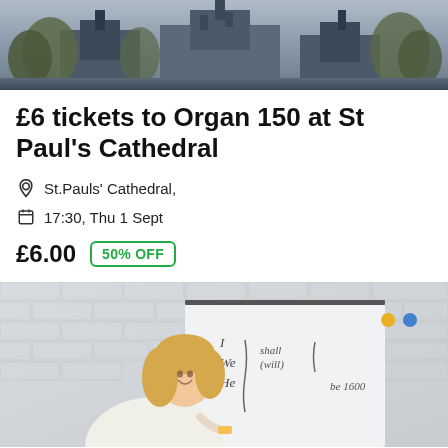[Figure (photo): Exterior photo of St Paul's Cathedral with trees in the foreground, grey sky background]
£6 tickets to Organ 150 at St Paul's Cathedral
St.Pauls' Cathedral,
17:30, Thu 1 Sept
£6.00  50% OFF
[Figure (photo): A smiling blonde woman writing on a whiteboard with text 'I, We, He... shall/will... be 1600']